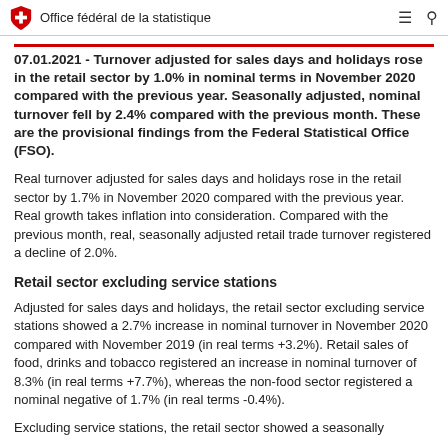Office fédéral de la statistique
07.01.2021 - Turnover adjusted for sales days and holidays rose in the retail sector by 1.0% in nominal terms in November 2020 compared with the previous year. Seasonally adjusted, nominal turnover fell by 2.4% compared with the previous month. These are the provisional findings from the Federal Statistical Office (FSO).
Real turnover adjusted for sales days and holidays rose in the retail sector by 1.7% in November 2020 compared with the previous year. Real growth takes inflation into consideration. Compared with the previous month, real, seasonally adjusted retail trade turnover registered a decline of 2.0%.
Retail sector excluding service stations
Adjusted for sales days and holidays, the retail sector excluding service stations showed a 2.7% increase in nominal turnover in November 2020 compared with November 2019 (in real terms +3.2%). Retail sales of food, drinks and tobacco registered an increase in nominal turnover of 8.3% (in real terms +7.7%), whereas the non-food sector registered a nominal negative of 1.7% (in real terms -0.4%).
Excluding service stations, the retail sector showed a seasonally